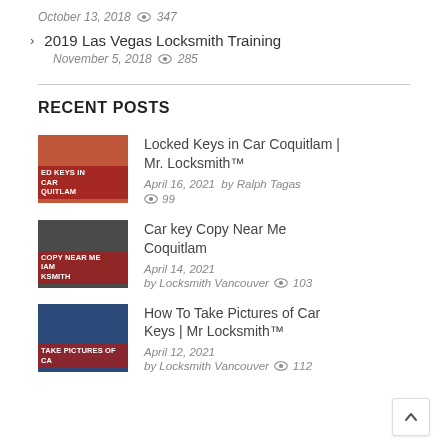October 13, 2018  347
2019 Las Vegas Locksmith Training
November 5, 2018  285
RECENT POSTS
Locked Keys in Car Coquitlam | Mr. Locksmith™
April 16, 2021  by Ralph Tagas  99
Car key Copy Near Me Coquitlam
April 14, 2021
by Locksmith Vancouver  103
How To Take Pictures of Car Keys | Mr Locksmith™
April 12, 2021
by Locksmith Vancouver  112